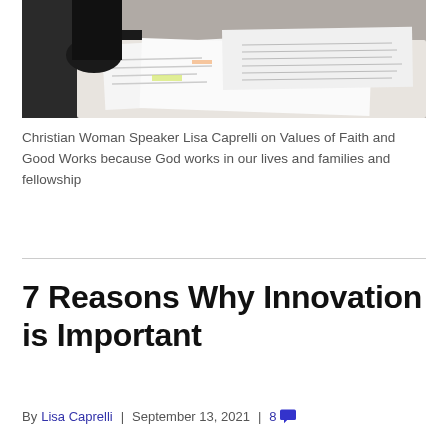[Figure (photo): Person reviewing papers/documents on a desk, viewed from above at an angle. Papers with charts and text visible.]
Christian Woman Speaker Lisa Caprelli on Values of Faith and Good Works because God works in our lives and families and fellowship
Read More
7 Reasons Why Innovation is Important
By Lisa Caprelli | September 13, 2021 | 8